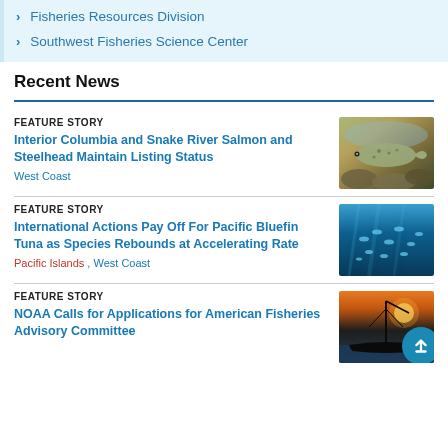Fisheries Resources Division
Southwest Fisheries Science Center
Recent News
FEATURE STORY
Interior Columbia and Snake River Salmon and Steelhead Maintain Listing Status
West Coast
[Figure (photo): Close-up photo of a salmon fish on rocky riverbed]
FEATURE STORY
International Actions Pay Off For Pacific Bluefin Tuna as Species Rebounds at Accelerating Rate
Pacific Islands , West Coast
[Figure (photo): Underwater photo of a school of bluefin tuna swimming in deep blue ocean]
FEATURE STORY
NOAA Calls for Applications for American Fisheries Advisory Committee
[Figure (photo): Fishing vessel silhouetted against sunset sky on the water]